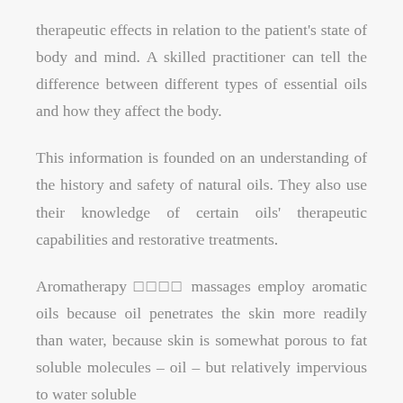therapeutic effects in relation to the patient's state of body and mind. A skilled practitioner can tell the difference between different types of essential oils and how they affect the body.
This information is founded on an understanding of the history and safety of natural oils. They also use their knowledge of certain oils' therapeutic capabilities and restorative treatments.
Aromatherapy □□□□ massages employ aromatic oils because oil penetrates the skin more readily than water, because skin is somewhat porous to fat soluble molecules – oil – but relatively impervious to water soluble